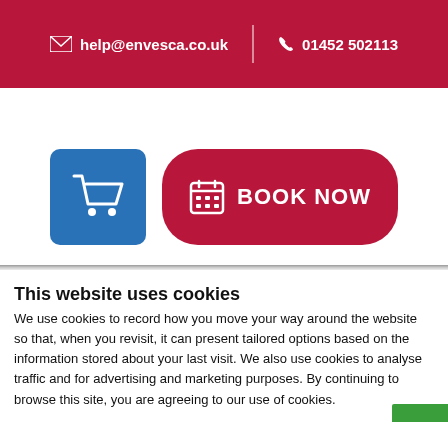✉ help@envesca.co.uk  |  ☎ 01452 502113
[Figure (other): Blue shopping cart button and red BOOK NOW button with calendar icon]
This website uses cookies
We use cookies to record how you move your way around the website so that, when you revisit, it can present tailored options based on the information stored about your last visit. We also use cookies to analyse traffic and for advertising and marketing purposes.  By continuing to browse this site, you are agreeing to our use of cookies.